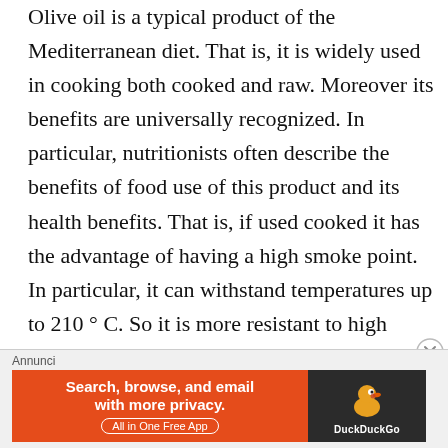Olive oil is a typical product of the Mediterranean diet. That is, it is widely used in cooking both cooked and raw. Moreover its benefits are universally recognized. In particular, nutritionists often describe the benefits of food use of this product and its health benefits. That is, if used cooked it has the advantage of having a high smoke point. In particular, it can withstand temperatures up to 210 ° C. So it is more resistant to high temperatures than all other edible oils. For example, it can be used for frying but also for baking many foods. First of all, however, its best and healthiest use is as a condiment for salads or vegetables. That is, few foods are as tasty and healthy as a vegetable-
[Figure (other): Advertisement banner for DuckDuckGo app: orange background on left with text 'Search, browse, and email with more privacy. All in One Free App', dark background on right with DuckDuckGo duck logo and 'DuckDuckGo' label. Labelled 'Annunci' (Italian for Ads) above.]